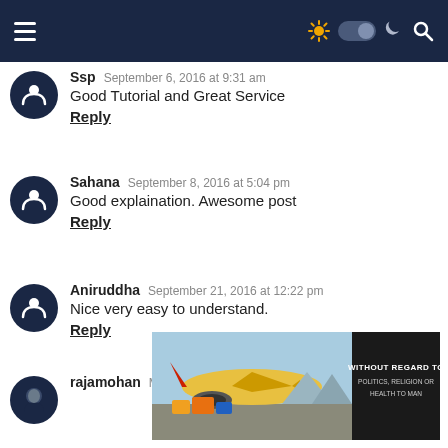Navigation bar with hamburger menu, theme toggle and search icon
Ssp   September 6, 2016 at 9:31 am
Good Tutorial and Great Service
Reply
Sahana   September 8, 2016 at 5:04 pm
Good explaination. Awesome post
Reply
Aniruddha   September 21, 2016 at 12:22 pm
Nice very easy to understand.
Reply
rajamohan   March 17, 2017 at 3:50 pm
[Figure (photo): Advertisement banner showing airplane being loaded with cargo, text reads WITHOUT REGARD TO POLITICS, RELIGION OR HEALTH TO MAN]